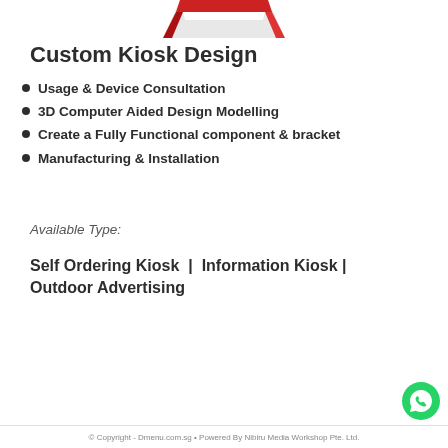[Figure (illustration): Partial view of a red kiosk product illustration at the top of the page]
Custom Kiosk Design
Usage & Device Consultation
3D Computer Aided Design Modelling
Create a Fully Functional component & bracket
Manufacturing & Installation
Available Type:
Self Ordering Kiosk  |  Information Kiosk | Outdoor Advertising
© Copyright - Dmenu.com.sg • Powered By Nibiru Media Workshop Pte. Ltd.